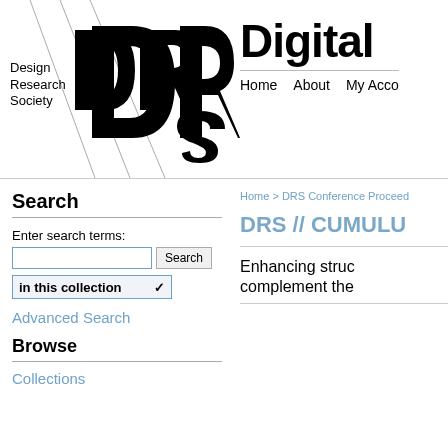[Figure (logo): DRS (Design Research Society) logo with diagonal lines and bold DRS lettering, alongside 'Design Research Society' text]
Digital | Home  About  My Acco
Search
Enter search terms:
in this collection
Advanced Search
Browse
Collections
Home > DRS Conference Proceed
DRS // CUMULU
Enhancing struc complement the